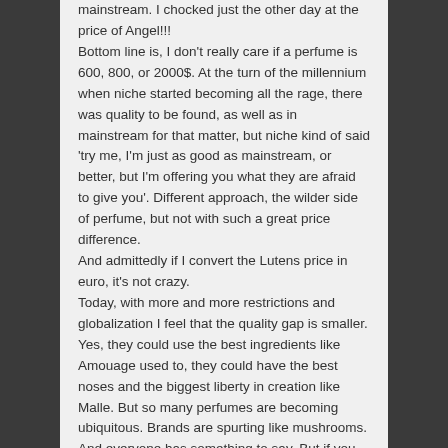mainstream. I chocked just the other day at the price of Angel!!! Bottom line is, I don't really care if a perfume is 600, 800, or 2000$. At the turn of the millennium when niche started becoming all the rage, there was quality to be found, as well as in mainstream for that matter, but niche kind of said 'try me, I'm just as good as mainstream, or better, but I'm offering you what they are afraid to give you'. Different approach, the wilder side of perfume, but not with such a great price difference. And admittedly if I convert the Lutens price in euro, it's not crazy. Today, with more and more restrictions and globalization I feel that the quality gap is smaller. Yes, they could use the best ingredients like Amouage used to, they could have the best noses and the biggest liberty in creation like Malle. But so many perfumes are becoming ubiquitous. Brands are spurting like mushrooms. And everyone has something to say. But if you want to avoid becoming olfactory noise you either have to